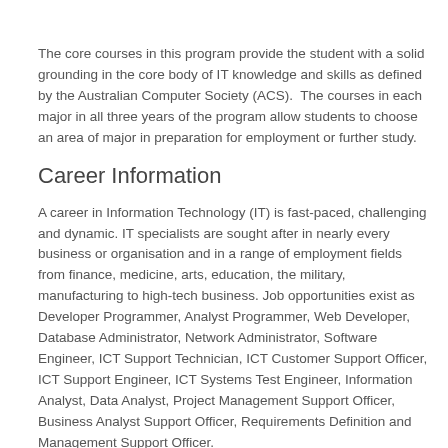The core courses in this program provide the student with a solid grounding in the core body of IT knowledge and skills as defined by the Australian Computer Society (ACS).  The courses in each major in all three years of the program allow students to choose an area of major in preparation for employment or further study.
Career Information
A career in Information Technology (IT) is fast-paced, challenging and dynamic. IT specialists are sought after in nearly every business or organisation and in a range of employment fields from finance, medicine, arts, education, the military, manufacturing to high-tech business. Job opportunities exist as Developer Programmer, Analyst Programmer, Web Developer, Database Administrator, Network Administrator, Software Engineer, ICT Support Technician, ICT Customer Support Officer, ICT Support Engineer, ICT Systems Test Engineer, Information Analyst, Data Analyst, Project Management Support Officer, Business Analyst Support Officer, Requirements Definition and Management Support Officer.